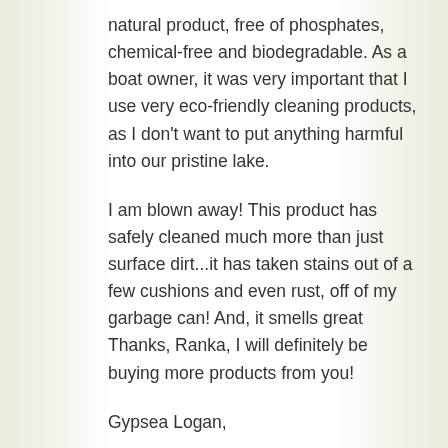natural product, free of phosphates, chemical-free and biodegradable. As a boat owner, it was very important that I use very eco-friendly cleaning products, as I don't want to put anything harmful into our pristine lake.
I am blown away! This product has safely cleaned much more than just surface dirt...it has taken stains out of a few cushions and even rust, off of my garbage can! And, it smells great Thanks, Ranka, I will definitely be buying more products from you!
Gypsea Logan,
Powell River, BC